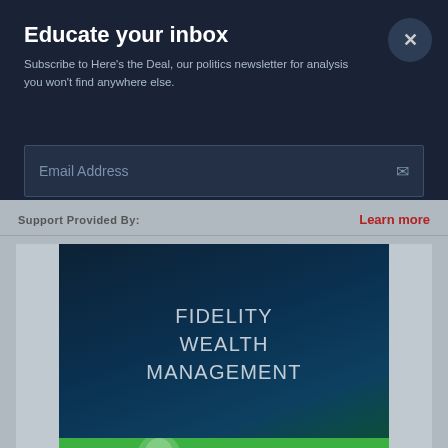Educate your inbox
Subscribe to Here's the Deal, our politics newsletter for analysis you won't find anywhere else.
Email Address
Support Provided By:
Learn more
[Figure (logo): Fidelity Wealth Management advertisement with dark blue/teal gradient background, text reading FIDELITY WEALTH MANAGEMENT, green bar at bottom with Fidelity logo]